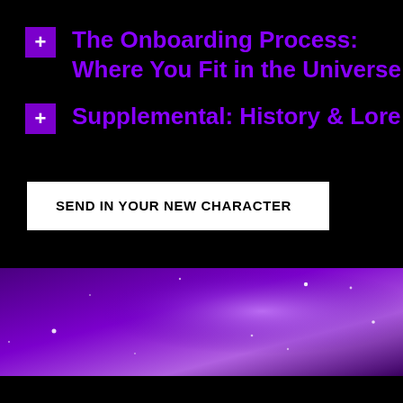The Onboarding Process: Where You Fit in the Universe
Supplemental: History & Lore
SEND IN YOUR NEW CHARACTER
[Figure (illustration): Purple nebula/space banner with scattered white star dots on a gradient purple background, positioned at the bottom of the page.]